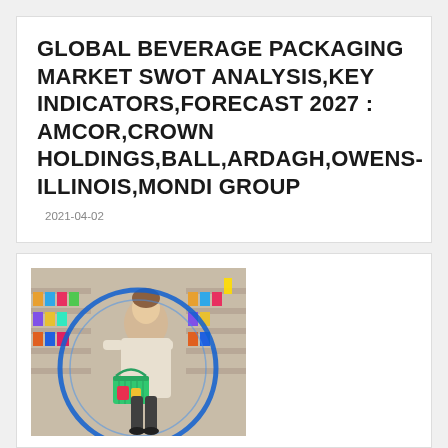GLOBAL BEVERAGE PACKAGING MARKET SWOT ANALYSIS,KEY INDICATORS,FORECAST 2027 : AMCOR,CROWN HOLDINGS,BALL,ARDAGH,OWENS-ILLINOIS,MONDI GROUP
2021-04-02
[Figure (photo): Photo of a person shopping in a supermarket aisle, holding a green shopping basket, with store shelves visible in the background. The image has a blue circular overlay/frame.]